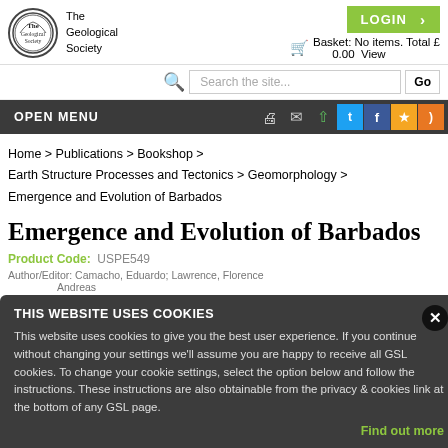[Figure (logo): The Geological Society circular logo with 'The Geological Society' text]
LOGIN ›
Basket: No items. Total £0.00 View
Search the site...
OPEN MENU
Home > Publications > Bookshop > Earth Structure Processes and Tectonics > Geomorphology > Emergence and Evolution of Barbados
Emergence and Evolution of Barbados
THIS WEBSITE USES COOKIES
Product Code:  USPE549
This website uses cookies to give you the best user experience. If you continue without changing your settings we'll assume you are happy to receive all GSL cookies. To change your cookie settings, select the option below and follow the instructions. These instructions are also obtainable from the privacy & cookies link at the bottom of any GSL page.
Find out more